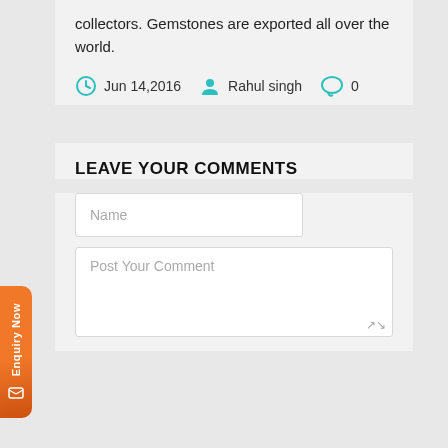collectors. Gemstones are exported all over the world.
Jun 14,2016   Rahul singh   0
LEAVE YOUR COMMENTS
Name
Post Your Comment